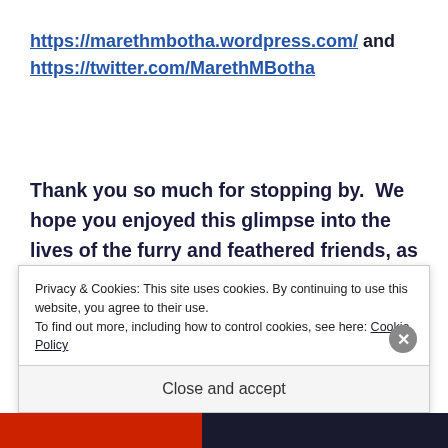https://marethmbotha.wordpress.com/ and https://twitter.com/MarethMBotha
Thank you so much for stopping by. We hope you enjoyed this glimpse into the lives of the furry and feathered friends, as well as the humans who share this part of Southern Africa with them.
Sponsored Content
Privacy & Cookies: This site uses cookies. By continuing to use this website, you agree to their use. To find out more, including how to control cookies, see here: Cookie Policy
Close and accept